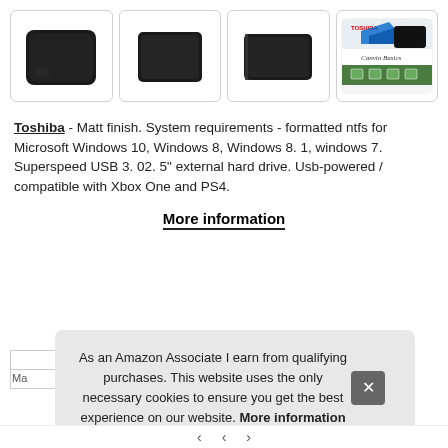[Figure (photo): Four thumbnail images of a Toshiba Canvio Basics external hard drive: three showing the device itself from different angles, and one showing the retail box packaging labeled 'Canvio Basics' with 1TB.]
Toshiba - Matt finish. System requirements - formatted ntfs for Microsoft Windows 10, Windows 8, Windows 8. 1, windows 7. Superspeed USB 3. 02. 5" external hard drive. Usb-powered / compatible with Xbox One and PS4.
More information
As an Amazon Associate I earn from qualifying purchases. This website uses the only necessary cookies to ensure you get the best experience on our website. More information